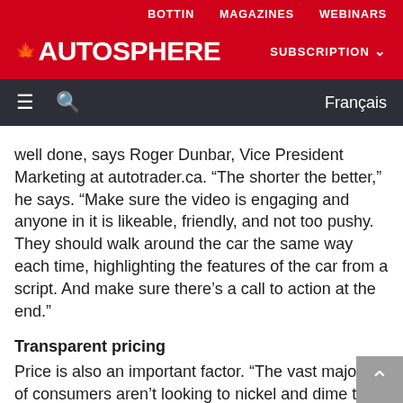BOTTIN   MAGAZINES   WEBINARS
AUTOSPHERE   SUBSCRIPTION
≡  🔍  Français
well done, says Roger Dunbar, Vice President Marketing at autotrader.ca. “The shorter the better,” he says. “Make sure the video is engaging and anyone in it is likeable, friendly, and not too pushy. They should walk around the car the same way each time, highlighting the features of the car from a script. And make sure there’s a call to action at the end.”
Transparent pricing
Price is also an important factor. “The vast majority of consumers aren’t looking to nickel and dime the dealer, they just want a fair price,” says